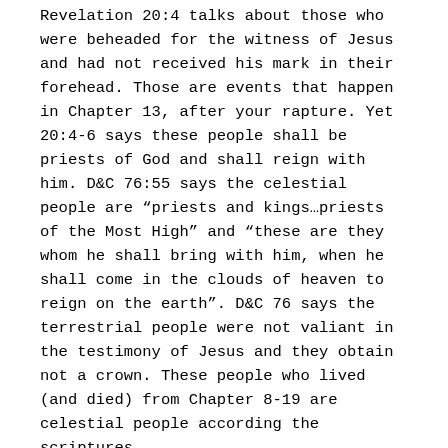Revelation 20:4 talks about those who were beheaded for the witness of Jesus and had not received his mark in their forehead. Those are events that happen in Chapter 13, after your rapture. Yet 20:4-6 says these people shall be priests of God and shall reign with him. D&C 76:55 says the celestial people are “priests and kings…priests of the Most High” and “these are they whom he shall bring with him, when he shall come in the clouds of heaven to reign on the earth”. D&C 76 says the terrestrial people were not valiant in the testimony of Jesus and they obtain not a crown. These people who lived (and died) from Chapter 8-19 are celestial people according the scriptures.